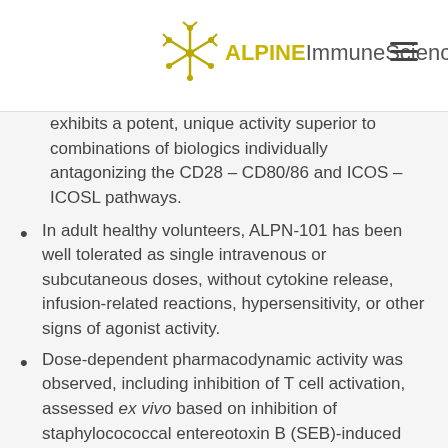Alpine Immune Sciences™
exhibits a potent, unique activity superior to combinations of biologics individually antagonizing the CD28 – CD80/86 and ICOS – ICOSL pathways.
In adult healthy volunteers, ALPN-101 has been well tolerated as single intravenous or subcutaneous doses, without cytokine release, infusion-related reactions, hypersensitivity, or other signs of agonist activity.
Dose-dependent pharmacodynamic activity was observed, including inhibition of T cell activation, assessed ex vivo based on inhibition of staphylocococcal entereotoxin B (SEB)-induced cytokine production.